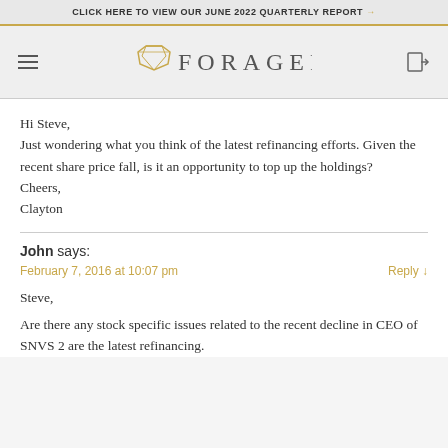CLICK HERE TO VIEW OUR JUNE 2022 QUARTERLY REPORT →
[Figure (logo): Forager Funds Management logo with geometric gem icon]
Hi Steve,
Just wondering what you think of the latest refinancing efforts. Given the recent share price fall, is it an opportunity to top up the holdings?
Cheers,
Clayton
John says:
February 7, 2016 at 10:07 pm
Reply ↓
Steve,

Are there any stock specific issues related to the recent decline in CEO of SNVS 2 are the latest refinancing.